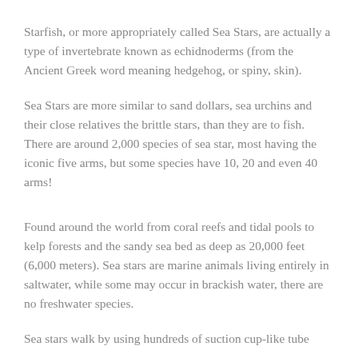Starfish, or more appropriately called Sea Stars, are actually a type of invertebrate known as echidnoderms (from the Ancient Greek word meaning hedgehog, or spiny, skin).
Sea Stars are more similar to sand dollars, sea urchins and their close relatives the brittle stars, than they are to fish. There are around 2,000 species of sea star, most having the iconic five arms, but some species have 10, 20 and even 40 arms!
Found around the world from coral reefs and tidal pools to kelp forests and the sandy sea bed as deep as 20,000 feet (6,000 meters). Sea stars are marine animals living entirely in saltwater, while some may occur in brackish water, there are no freshwater species.
Sea stars walk by using hundreds of suction cup-like tube